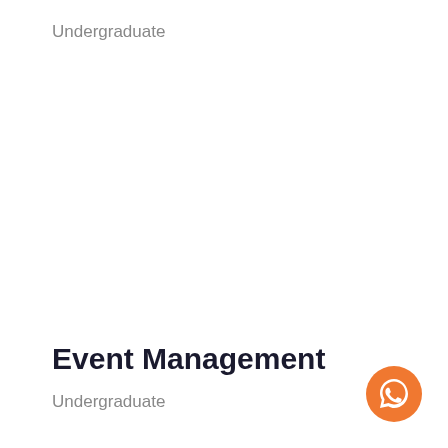Undergraduate
Event Management
Undergraduate
[Figure (illustration): WhatsApp icon button — orange circular button with white speech-bubble phone icon in the bottom-right corner of the page]